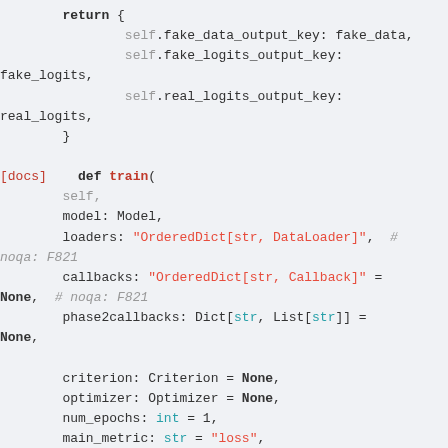Code snippet showing Python class method definitions including return statement and train() method signature with parameters